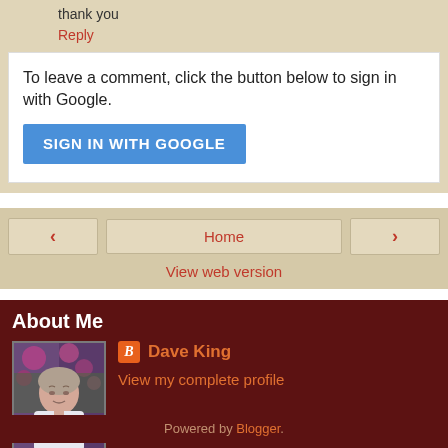thank you
Reply
To leave a comment, click the button below to sign in with Google.
SIGN IN WITH GOOGLE
‹
Home
›
View web version
About Me
[Figure (photo): Profile photo of Dave King, an older man in a white shirt against a floral background]
Dave King
View my complete profile
Powered by Blogger.